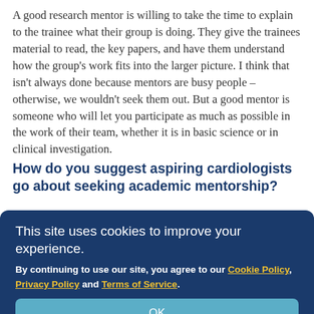A good research mentor is willing to take the time to explain to the trainee what their group is doing. They give the trainees material to read, the key papers, and have them understand how the group's work fits into the larger picture. I think that isn't always done because mentors are busy people – otherwise, we wouldn't seek them out. But a good mentor is someone who will let you participate as much as possible in the work of their team, whether it is in basic science or in clinical investigation.
How do you suggest aspiring cardiologists go about seeking academic mentorship?
There are two types of cardiology mentorship in the ... nation and clinical fellowship. An appropriate clinical mentor will review patients with you, while giving you ... el ... experience. You'll also learn how to put a needle into the radial artery, how to put a central line and the...
This site uses cookies to improve your experience.
By continuing to use our site, you agree to our Cookie Policy, Privacy Policy and Terms of Service.
OK